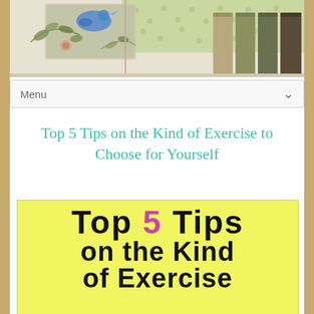[Figure (illustration): Website header banner with decorative bird, leaves/branches, and colored tab dividers on a light beige background]
Menu
Top 5 Tips on the Kind of Exercise to Choose for Yourself
[Figure (illustration): Yellow background image with large hand-lettered text reading 'Top 5 Tips on the Kind of Exercise' where the number 5 is in pink/magenta and the rest is in black]